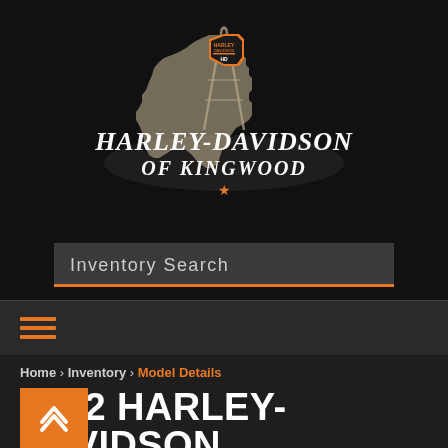[Figure (logo): Harley-Davidson of Kingwood dealership logo on black background, featuring Texas state outline with oil derrick and Harley-Davidson shield badge, with stylized text 'HARLEY-DAVIDSON OF KINGWOOD']
Inventory Search
[Figure (other): Hamburger menu icon with three orange horizontal lines]
Home › Inventory › Model Details
2022 HARLEY-DAVIDSON HERITAGE CLASSIC 114
Reef Blue / Vivid Black (Black Finish with Cast